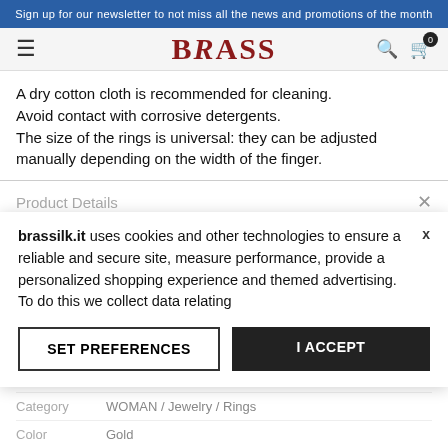Sign up for our newsletter to not miss all the news and promotions of the month
[Figure (logo): BRASS brand logo with hamburger menu, search and cart icons in navigation bar]
A dry cotton cloth is recommended for cleaning. Avoid contact with corrosive detergents. The size of the rings is universal: they can be adjusted manually depending on the width of the finger.
Product Details
brassilk.it uses cookies and other technologies to ensure a reliable and secure site, measure performance, provide a personalized shopping experience and themed advertising. To do this we collect data relating
| Field | Value |
| --- | --- |
| SKU | J-A70 |
| Brand |  |
| Category | WOMAN / Jewelry / Rings |
| Color | Gold |